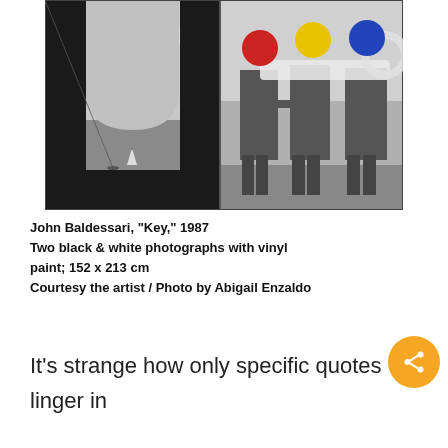[Figure (photo): John Baldessari artwork 'Key' 1987 — two black and white photographs side by side: left shows a Moorish arch window with a calm sea and sailboat; right shows three men in suits holding a large key shape, with colored dots (red, yellow, blue) over their heads.]
John Baldessari, “Key,” 1987
Two black & white photographs with vinyl paint; 152 x 213 cm
Courtesy the artist / Photo by Abigail Enzaldo
It’s strange how only specific quotes linger in the memory. At an opening at LACMA, almost everyone had left apart from Mike Kelley and Baldessari. I was talking with